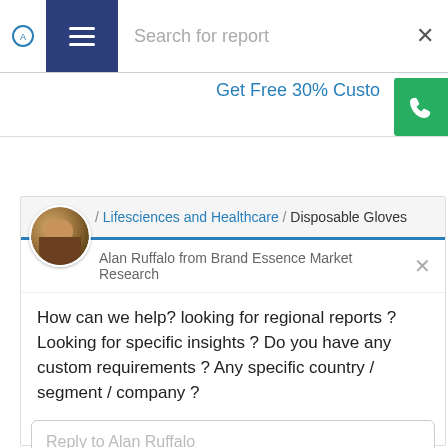Search for report
Get Free 30% Custo
[Figure (screenshot): Chat widget showing breadcrumb navigation: / Lifesciences and Healthcare / Disposable Gloves, with avatar of Alan Ruffalo from Brand Essence Market Research]
Alan Ruffalo from Brand Essence Market Research
How can we help? looking for regional reports ? Looking for specific insights ? Do you have any custom requirements ? Any specific country / segment / company ?
Reply to Alan Ruffalo
Chat ⚡ by Drift